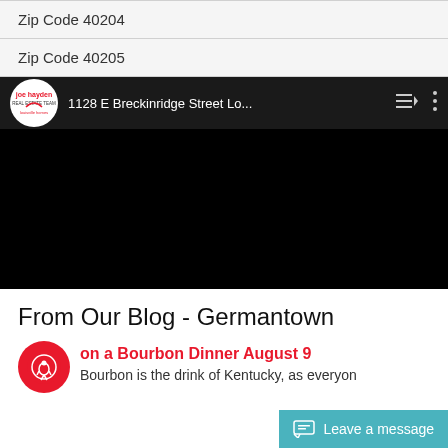Zip Code 40204
Zip Code 40205
[Figure (screenshot): YouTube video player showing '1128 E Breckinridge Street Lo...' with Joe Hayden Real Estate Team logo, queue and more-options icons, black video area]
From Our Blog - Germantown
on a Bourbon Dinner August 9
Bourbon is the drink of Kentucky, as everyon
Leave a message